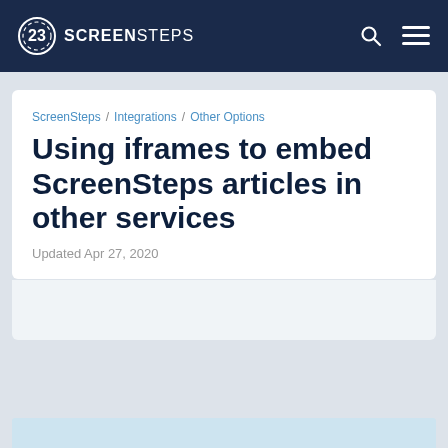SCREENSTEPS
ScreenSteps / Integrations / Other Options
Using iframes to embed ScreenSteps articles in other services
Updated Apr 27, 2020